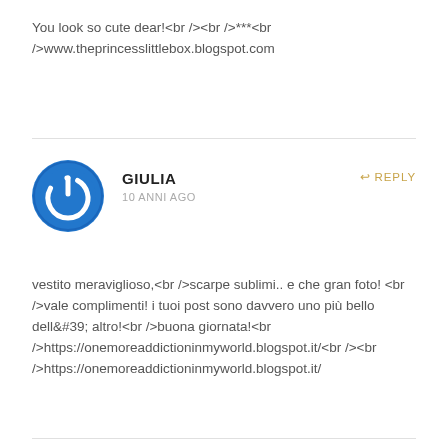You look so cute dear!<br /><br />***<br />www.theprincesslittlebox.blogspot.com
[Figure (logo): Blue circular power button icon, white power symbol on blue background]
GIULIA
10 ANNI AGO
REPLY
vestito meraviglioso,<br />scarpe sublimi.. e che gran foto! <br />vale complimenti! i tuoi post sono davvero uno più bello dell&#39; altro!<br />buona giornata!<br />https://onemoreaddictioninmyworld.blogspot.it/<br /><br />https://onemoreaddictioninmyworld.blogspot.it/